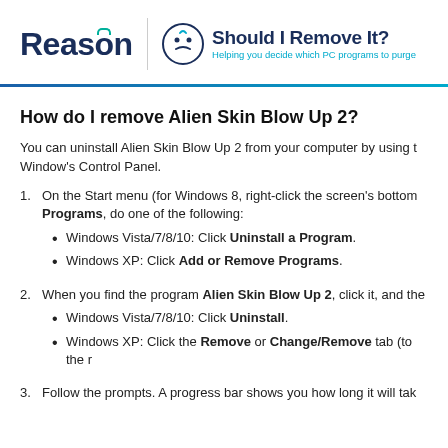[Figure (logo): Reason logo with 'Should I Remove It?' branding and subtitle 'Helping you decide which PC programs to purge']
How do I remove Alien Skin Blow Up 2?
You can uninstall Alien Skin Blow Up 2 from your computer by using the Window's Control Panel.
1. On the Start menu (for Windows 8, right-click the screen's bottom-left corner), click Control Panel, and then, under Programs, do one of the following:
Windows Vista/7/8/10: Click Uninstall a Program.
Windows XP: Click Add or Remove Programs.
2. When you find the program Alien Skin Blow Up 2, click it, and then do one of the following:
Windows Vista/7/8/10: Click Uninstall.
Windows XP: Click the Remove or Change/Remove tab (to the right of the program).
3. Follow the prompts. A progress bar shows you how long it will take.